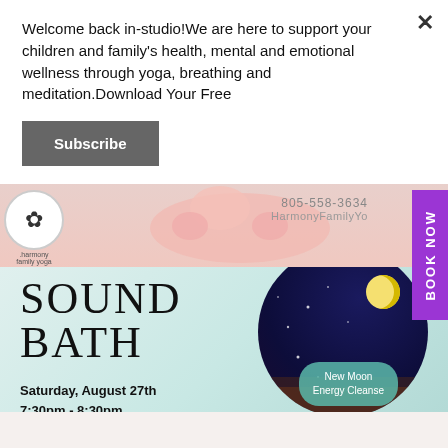Welcome back in-studio!We are here to support your children and family's health, mental and emotional wellness through yoga, breathing and meditation.Download Your Free
[Figure (illustration): Subscribe button — dark grey rectangular button with white bold text 'Subscribe']
[Figure (photo): Background image showing a yoga studio promotional content: top strip with person in yoga pose wearing pink, logo circle for Harmony Family Yoga, phone number 805-558-3634, HarmonyFamilyYo... text, purple BOOK NOW tab on right side, Sound Bath event card with teal/mint background, large serif text SOUND BATH, night sky circle with moon, New Moon Energy Cleanse badge, Saturday August 27th 7:30pm-8:30pm date text, bottom collage of hands playing singing bowl and person in white clothing]
805-558-3634
HarmonyFamilyYo
BOOK NOW
SOUND BATH
Saturday, August 27th
7:30pm - 8:30pm
New Moon Energy Cleanse